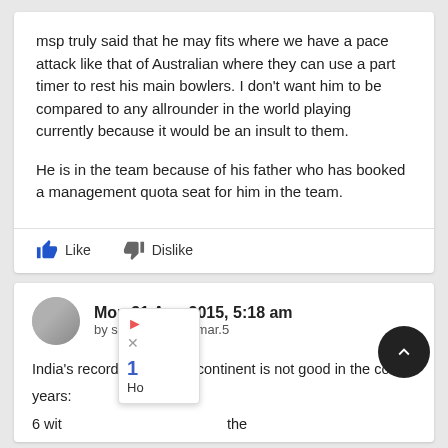msp truly said that he may fits where we have a pace attack like that of Australian where they can use a part timer to rest his main bowlers. I don't want him to be compared to any allrounder in the world playing currently because it would be an insult to them.

He is in the team because of his father who has booked a management quota seat for him in the team.
Like   Dislike
Mon 31 Aug 2015, 5:18 am
by subhranshu.kumar.5
India's record outside subcontinent is not good in the couple years:
6 wit ... the